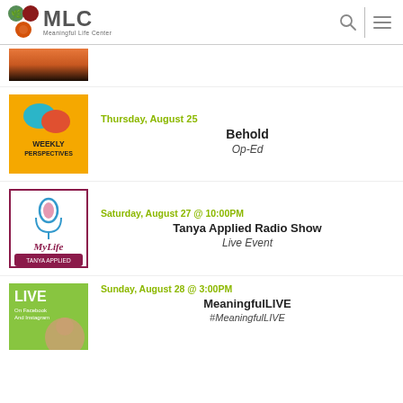MLC Meaningful Life Center
[Figure (photo): Partial sunset/landscape thumbnail image at top]
Thursday, August 25 | Behold | Op-Ed
Saturday, August 27 @ 10:00PM | Tanya Applied Radio Show | Live Event
Sunday, August 28 @ 3:00PM | MeaningfulLIVE | #MeaningfulLIVE